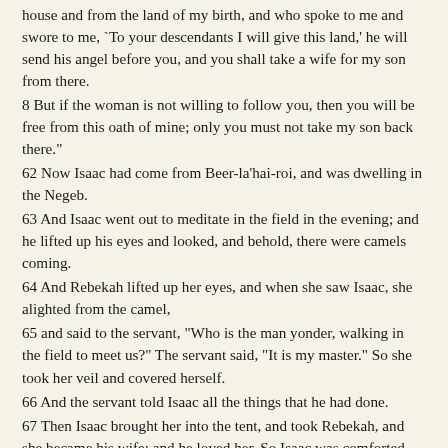house and from the land of my birth, and who spoke to me and swore to me, `To your descendants I will give this land,' he will send his angel before you, and you shall take a wife for my son from there.
8 But if the woman is not willing to follow you, then you will be free from this oath of mine; only you must not take my son back there."
62 Now Isaac had come from Beer-la'hai-roi, and was dwelling in the Negeb.
63 And Isaac went out to meditate in the field in the evening; and he lifted up his eyes and looked, and behold, there were camels coming.
64 And Rebekah lifted up her eyes, and when she saw Isaac, she alighted from the camel,
65 and said to the servant, "Who is the man yonder, walking in the field to meet us?" The servant said, "It is my master." So she took her veil and covered herself.
66 And the servant told Isaac all the things that he had done.
67 Then Isaac brought her into the tent, and took Rebekah, and she became his wife; and he loved her. So Isaac was comforted after his mother's death.